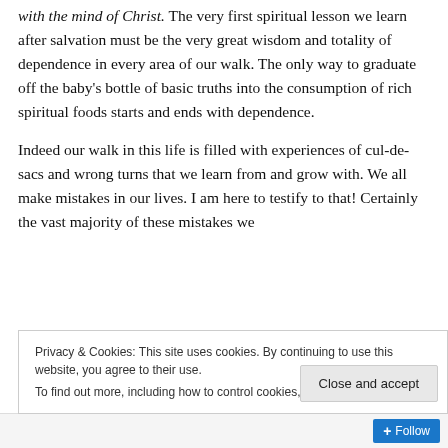with the mind of Christ. The very first spiritual lesson we learn after salvation must be the very great wisdom and totality of dependence in every area of our walk. The only way to graduate off the baby's bottle of basic truths into the consumption of rich spiritual foods starts and ends with dependence.
Indeed our walk in this life is filled with experiences of cul-de-sacs and wrong turns that we learn from and grow with. We all make mistakes in our lives. I am here to testify to that! Certainly the vast majority of these mistakes we
Privacy & Cookies: This site uses cookies. By continuing to use this website, you agree to their use.
To find out more, including how to control cookies, see here: Cookie Policy